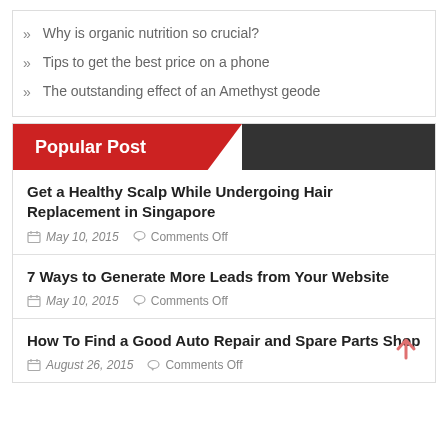Why is organic nutrition so crucial?
Tips to get the best price on a phone
The outstanding effect of an Amethyst geode
Popular Post
Get a Healthy Scalp While Undergoing Hair Replacement in Singapore
May 10, 2015   Comments Off
7 Ways to Generate More Leads from Your Website
May 10, 2015   Comments Off
How To Find a Good Auto Repair and Spare Parts Shop
August 26, 2015   Comments Off